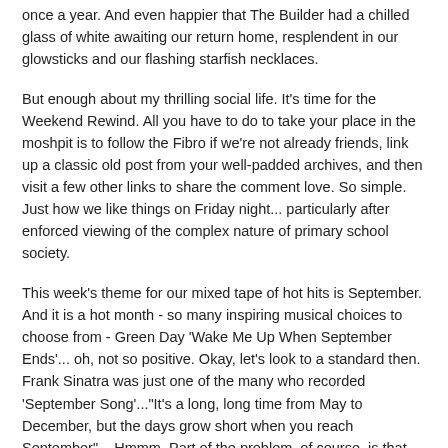once a year. And even happier that The Builder had a chilled glass of white awaiting our return home, resplendent in our glowsticks and our flashing starfish necklaces.
But enough about my thrilling social life. It's time for the Weekend Rewind. All you have to do to take your place in the moshpit is to follow the Fibro if we're not already friends, link up a classic old post from your well-padded archives, and then visit a few other links to share the comment love. So simple. Just how we like things on Friday night... particularly after enforced viewing of the complex nature of primary school society.
This week's theme for our mixed tape of hot hits is September. And it is a hot month - so many inspiring musical choices to choose from - Green Day 'Wake Me Up When September Ends'... oh, not so positive. Okay, let's look to a standard then. Frank Sinatra was just one of the many who recorded 'September Song'..."It's a long, long time from May to December, but the days grow short when you reach September"... Hmmm. Part of the problem, of course, is that September in the Northern Hemisphere heralds the dark